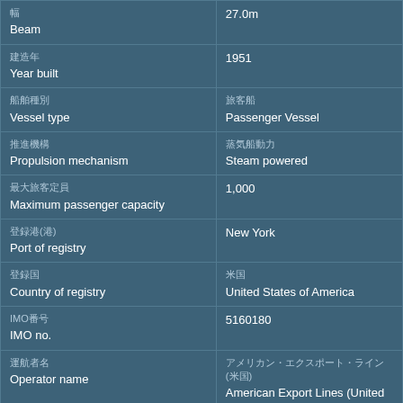| Field | Value |
| --- | --- |
| 幅 / Beam | 27.0m |
| 建造年 / Year built | 1951 |
| 船舶種別 / Vessel type | 旅客船 / Passenger Vessel |
| 推進機構 / Propulsion mechanism | 蒸気船 / Steam powered |
| 最大旅客定員 / Maximum passenger capacity | 1,000 |
| 登録港(港) / Port of registry | New York |
| 登録国 / Country of registry | 米国 / United States of America |
| IMO番号 / IMO no. | 5160180 |
| 運航者名 / Operator name | アメリカン・エクスポート・ライン (米国) / American Export Lines (United |